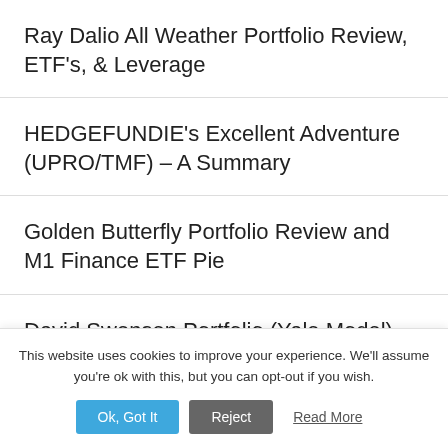Ray Dalio All Weather Portfolio Review, ETF's, & Leverage
HEDGEFUNDIE's Excellent Adventure (UPRO/TMF) – A Summary
Golden Butterfly Portfolio Review and M1 Finance ETF Pie
David Swensen Portfolio (Yale Model) Review and ETF Table
This website uses cookies to improve your experience. We'll assume you're ok with this, but you can opt-out if you wish.
Ok, Got It | Reject | Read More